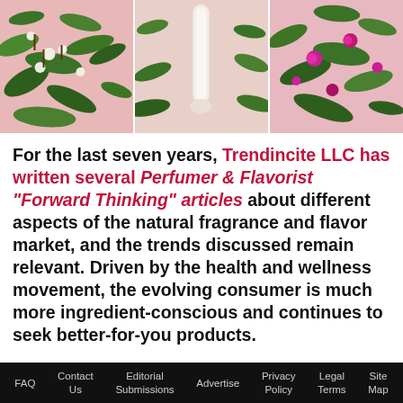[Figure (photo): Three-panel photo strip showing herbs, flowers and botanical ingredients on pink background with a hand holding a white bottle in the center panel.]
For the last seven years, Trendincite LLC has written several Perfumer & Flavorist "Forward Thinking" articles about different aspects of the natural fragrance and flavor market, and the trends discussed remain relevant. Driven by the health and wellness movement, the evolving consumer is much more ingredient-conscious and continues to seek better-for-you products.
FAQ  Contact Us  Editorial Submissions  Advertise  Privacy Policy  Legal Terms  Site Map